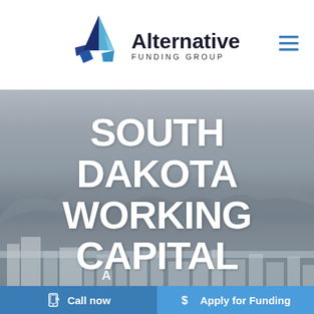[Figure (logo): Alternative Funding Group logo with geometric triangular 'A' mark in blue tones and company name]
[Figure (photo): Grayscale aerial/cityscape photo with mountains in background, used as hero background image]
SOUTH DAKOTA WORKING CAPITAL
A...
Call now
Apply for Funding